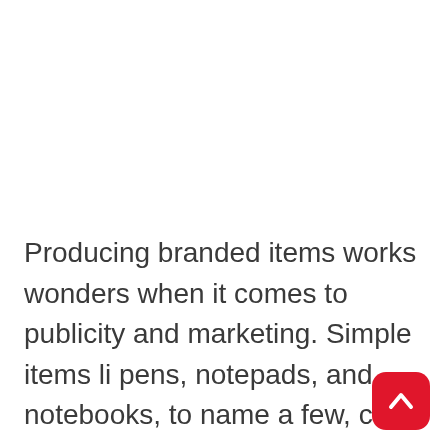Producing branded items works wonders when it comes to publicity and marketing. Simple items li... pens, notepads, and notebooks, to name a few, c...